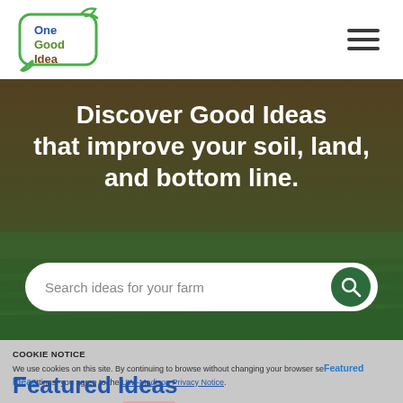[Figure (logo): One Good Idea logo: rounded square speech bubble with green outline, text 'One Good Idea' in blue and brown, green leaf/sprout on top]
[Figure (illustration): Agricultural landscape hero image showing farm field with green crops, overlaid with dark brownish semi-transparent gradient]
Discover Good Ideas that improve your soil, land, and bottom line.
Search ideas for your farm
COOKIE NOTICE
We use cookies on this site. By continuing to browse without changing your browser settings, you agree to the UW–Madison Privacy Notice.
Featured Ideas
By Farmers, for farmers, backed by evidence.